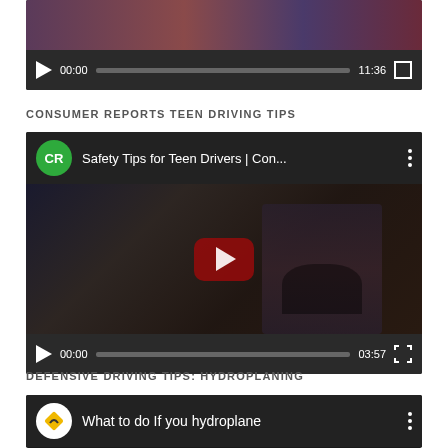[Figure (screenshot): Partial video player at top showing video thumbnail of people and player controls with time 00:00 / 11:36 and fullscreen button]
CONSUMER REPORTS TEEN DRIVING TIPS
[Figure (screenshot): YouTube embedded video player showing 'Safety Tips for Teen Drivers | Con...' with CR (Consumer Reports) logo, teen driver in car thumbnail, play button, controls showing 00:00 / 03:57]
DEFENSIVE DRIVING TIPS: HYDROPLANING
[Figure (screenshot): Partial video player showing 'What to do If you hydroplane' with road sign logo]